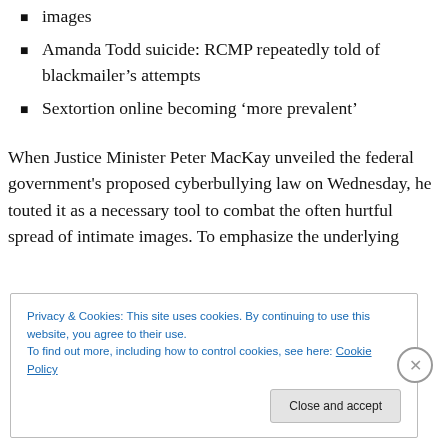images
Amanda Todd suicide: RCMP repeatedly told of blackmailer’s attempts
Sextortion online becoming ‘more prevalent’
When Justice Minister Peter MacKay unveiled the federal government's proposed cyberbullying law on Wednesday, he touted it as a necessary tool to combat the often hurtful spread of intimate images. To emphasize the underlying
Privacy & Cookies: This site uses cookies. By continuing to use this website, you agree to their use.
To find out more, including how to control cookies, see here: Cookie Policy